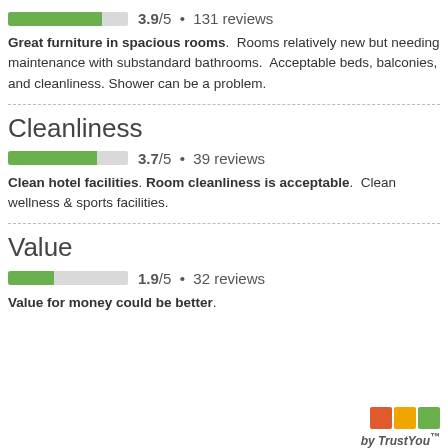[Figure (infographic): Rating bar showing 3.9/5 with 131 reviews. Green filled bar approximately 78% full on grey track.]
Great furniture in spacious rooms. Rooms relatively new but needing maintenance with substandard bathrooms. Acceptable beds, balconies, and cleanliness. Shower can be a problem.
Cleanliness
[Figure (infographic): Rating bar showing 3.7/5 with 39 reviews. Green filled bar approximately 74% full on grey track.]
Clean hotel facilities. Room cleanliness is acceptable. Clean wellness & sports facilities.
Value
[Figure (infographic): Rating bar showing 1.9/5 with 32 reviews. Green filled bar approximately 38% full on grey track.]
Value for money could be better.
by TrustYou™